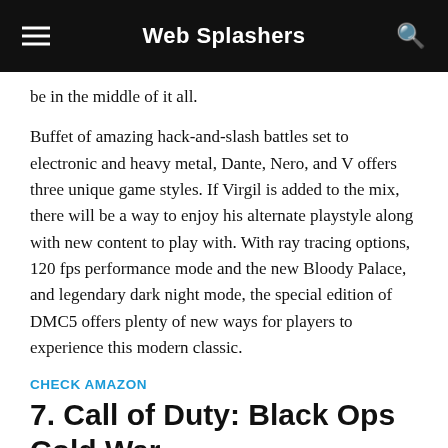Web Splashers
be in the middle of it all.
Buffet of amazing hack-and-slash battles set to electronic and heavy metal, Dante, Nero, and V offers three unique game styles. If Virgil is added to the mix, there will be a way to enjoy his alternate playstyle along with new content to play with. With ray tracing options, 120 fps performance mode and the new Bloody Palace, and legendary dark night mode, the special edition of DMC5 offers plenty of new ways for players to experience this modern classic.
CHECK AMAZON
7.  Call of Duty: Black Ops Cold War
[Figure (photo): Partial image at bottom of page showing a dark teal/blue scene from Call of Duty: Black Ops Cold War]